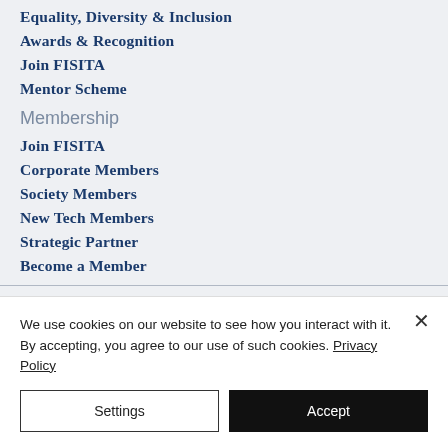Equality, Diversity & Inclusion
Awards & Recognition
Join FISITA
Mentor Scheme
Membership
Join FISITA
Corporate Members
Society Members
New Tech Members
Strategic Partner
Become a Member
We use cookies on our website to see how you interact with it. By accepting, you agree to our use of such cookies. Privacy Policy
Settings
Accept